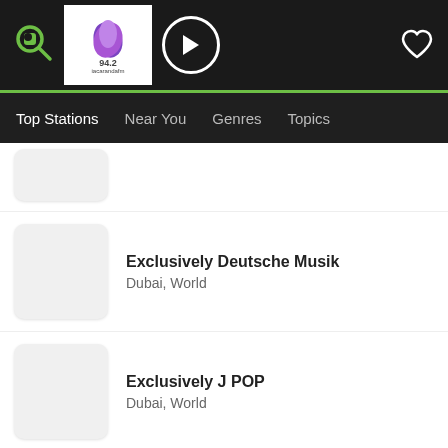[Figure (screenshot): App top navigation bar with logo, Jacaranda FM station logo, play button, and heart icon]
Top Stations | Near You | Genres | Topics
Exclusively Deutsche Musik
Dubai, World
Exclusively J POP
Dubai, World
Exclusively Bollywood
Dubai, World
Exclusively Italy